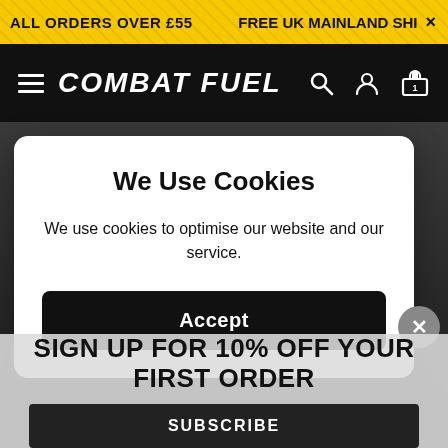ALL ORDERS OVER £55   FREE UK MAINLAND SHI  ×
COMBAT FUEL
We Use Cookies
We use cookies to optimise our website and our service.
Accept
SIGN UP FOR 10% OFF YOUR FIRST ORDER
SUBSCRIBE